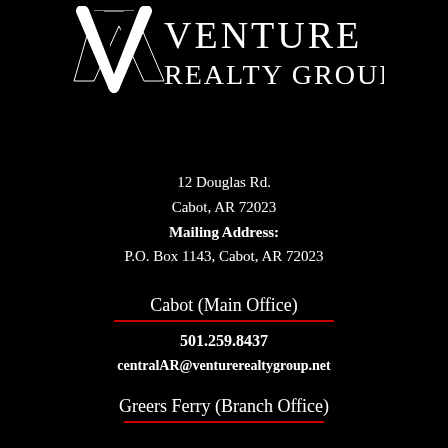[Figure (logo): Venture Realty Group logo with a large V and the text VENTURE REALTY GROUP in white on black background]
12 Douglas Rd.
Cabot, AR 72023
Mailing Address:
P.O. Box 1143, Cabot, AR 72023
Cabot (Main Office)
501.259.8437
centralAR@venturerealtygroup.net
Greers Ferry (Branch Office)